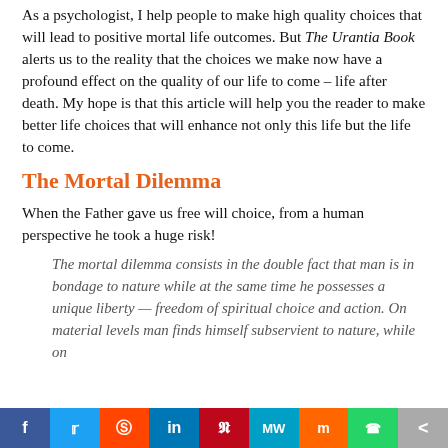As a psychologist, I help people to make high quality choices that will lead to positive mortal life outcomes. But The Urantia Book alerts us to the reality that the choices we make now have a profound effect on the quality of our life to come – life after death. My hope is that this article will help you the reader to make better life choices that will enhance not only this life but the life to come.
The Mortal Dilemma
When the Father gave us free will choice, from a human perspective he took a huge risk!
The mortal dilemma consists in the double fact that man is in bondage to nature while at the same time he possesses a unique liberty — freedom of spiritual choice and action. On material levels man finds himself subservient to nature, while on